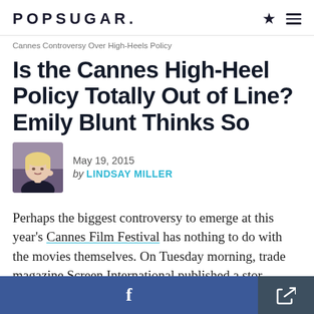POPSUGAR.
Cannes Controversy Over High-Heels Policy
Is the Cannes High-Heel Policy Totally Out of Line? Emily Blunt Thinks So
May 19, 2015 by LINDSAY MILLER
[Figure (photo): Author headshot of Lindsay Miller — woman with short blonde hair wearing a dark top]
Perhaps the biggest controversy to emerge at this year's Cannes Film Festival has nothing to do with the movies themselves. On Tuesday morning, trade magazine Screen International published a stor...